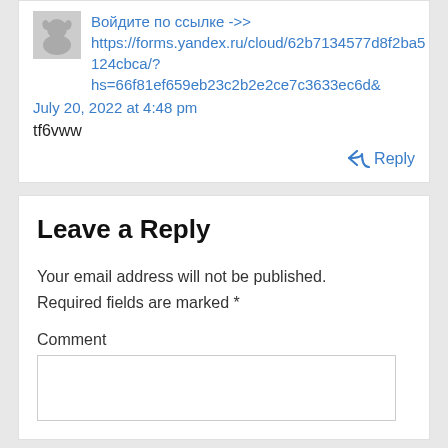Войдите по ссылке ->>
https://forms.yandex.ru/cloud/62b7134577d8f2ba5124cbca/?hs=66f81ef659eb23c2b2e2ce7c3633ec6d&
July 20, 2022 at 4:48 pm
tf6vww
Reply
Leave a Reply
Your email address will not be published. Required fields are marked *
Comment